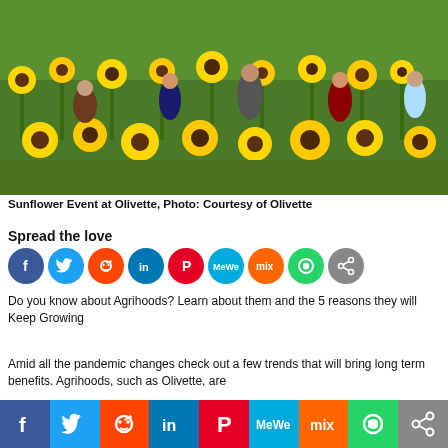[Figure (photo): People picking sunflowers in a large sunflower field, photographed outdoors]
Sunflower Event at Olivette, Photo: Courtesy of Olivette
Spread the love
[Figure (infographic): Row of social media share buttons: Facebook, Twitter, Reddit, LinkedIn, Pinterest, MeWe, Mix, WhatsApp, Share]
Do you know about Agrihoods? Learn about them and the 5 reasons they will Keep Growing
Amid all the pandemic changes check out a few trends that will bring long term benefits. Agrihoods, such as Olivette, are
[Figure (infographic): Bottom social media share bar: Facebook, Twitter, Reddit, LinkedIn, Pinterest, MeWe, Mix, WhatsApp, Share]